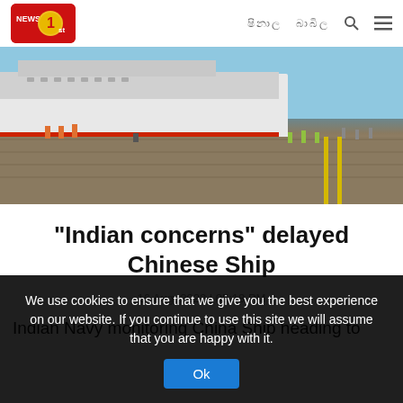NEWS 1st | Navigation links | Search | Menu
[Figure (photo): A large white cruise/research ship docked at a port. Workers in orange and yellow vests visible on the dock. Blue sky and ocean visible in background.]
"Indian concerns" delayed Chinese Ship
16 Aug, 2022 | 05:18 PM
Indian Navy monitoring China Ship heading to
We use cookies to ensure that we give you the best experience on our website. If you continue to use this site we will assume that you are happy with it.